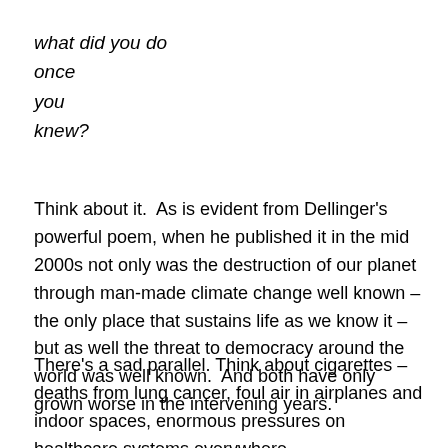what did you do
once
you
knew?
Think about it.  As is evident from Dellinger's powerful poem, when he published it in the mid 2000s not only was the destruction of our planet through man-made climate change well known – the only place that sustains life as we know it – but as well the threat to democracy around the world was well known.  And both have only grown worse in the intervening years.
There's a sad parallel. Think about cigarettes – deaths from lung cancer, foul air in airplanes and indoor spaces, enormous pressures on healthcare systems everywhere